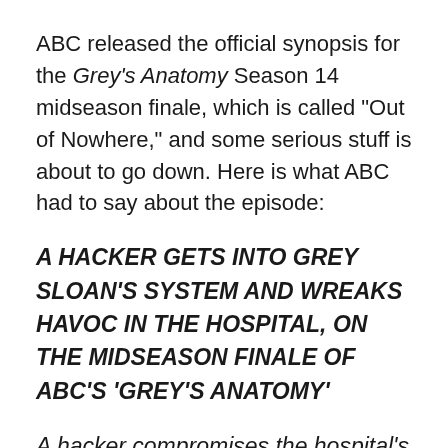ABC released the official synopsis for the Grey's Anatomy Season 14 midseason finale, which is called "Out of Nowhere," and some serious stuff is about to go down. Here is what ABC had to say about the episode:
A HACKER GETS INTO GREY SLOAN'S SYSTEM AND WREAKS HAVOC IN THE HOSPITAL, ON THE MIDSEASON FINALE OF ABC'S ‘GREY’S ANATOMY’
A hacker compromises the hospital's computer system, causing monitors, phones, labs and patient files to all go down. As technology fails them, Bailey attempts to keep the peace but chaos erupts and the doctors are forced to get creative in their methods to